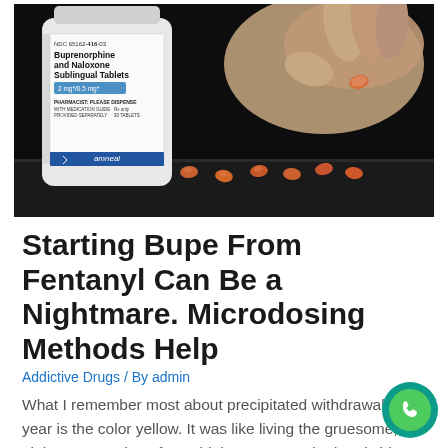[Figure (photo): Photo of a white pill bottle labeled 'Buprenorphine and Naloxone Sublingual Tablets 2mg/0.5mg' by Amneal pharmaceuticals on a dark background, with a hand picking up one small orange tablet from several scattered on a surface.]
Starting Bupe From Fentanyl Can Be a Nightmare. Microdosing Methods Help
Addictive Drugs / By admin
What I remember most about precipitated withdrawal last year is the color yellow. It was like living the gruesome, nightmare version of a Coldplay song: I puked and shit, I